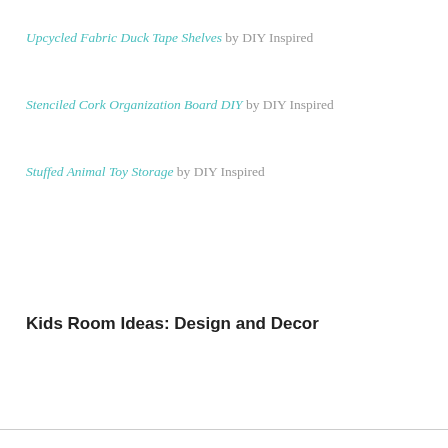Upcycled Fabric Duck Tape Shelves by DIY Inspired
Stenciled Cork Organization Board DIY by DIY Inspired
Stuffed Animal Toy Storage by DIY Inspired
Kids Room Ideas: Design and Decor